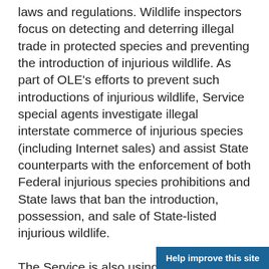laws and regulations. Wildlife inspectors focus on detecting and deterring illegal trade in protected species and preventing the introduction of injurious wildlife. As part of OLE's efforts to prevent such introductions of injurious wildlife, Service special agents investigate illegal interstate commerce of injurious species (including Internet sales) and assist State counterparts with the enforcement of both Federal injurious species prohibitions and State laws that ban the introduction, possession, and sale of State-listed injurious wildlife.
The Service is also using partnerships to minimize new introductions and prevent the spread of invasive speciess. For example, the governments of the United States and Canada, working jointly through the Great Lakes Fishery Commission, have implemented a successful sea lamprey control progra...